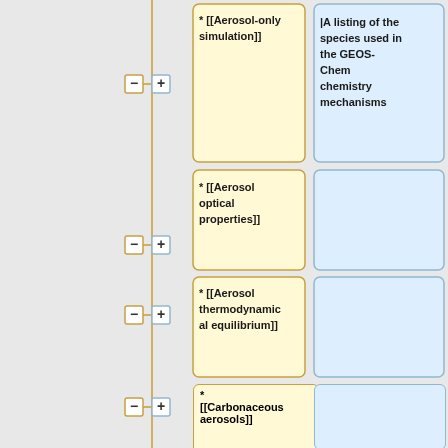[Figure (flowchart): Wiki-style flowchart showing a vertical spine (yellow/gold line) with nodes branching left (yellow boxes) and right (blue boxes). Yellow left boxes: '* [[Aerosol-only simulation]]', '* [[Aerosol optical properties]]', '* [[Aerosol thermodynamical equilibrium]]', '* [[Carbonaceous aerosols]]', '* [[Mineral dust aerosols]]', '* [[Secondary organic...' (truncated at bottom). The first blue right box is filled with text: '|A listing of the species used in the GEOS-Chem chemistry mechanisms'. Remaining blue boxes are empty. Minus (-) controls on the left side of the spine, plus (+) controls on the right side.]